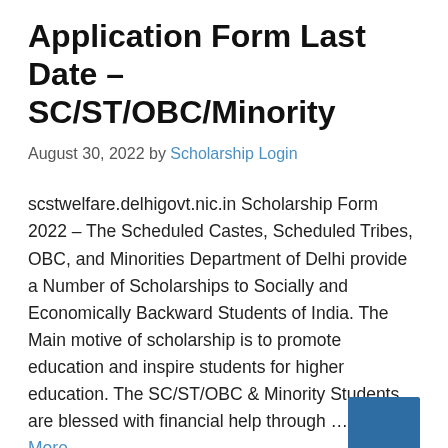Application Form Last Date – SC/ST/OBC/Minority
August 30, 2022 by Scholarship Login
scstwelfare.delhigovt.nic.in Scholarship Form 2022 – The Scheduled Castes, Scheduled Tribes, OBC, and Minorities Department of Delhi provide a Number of Scholarships to Socially and Economically Backward Students of India. The Main motive of scholarship is to promote education and inspire students for higher education. The SC/ST/OBC & Minority Students are blessed with financial help through … Read More